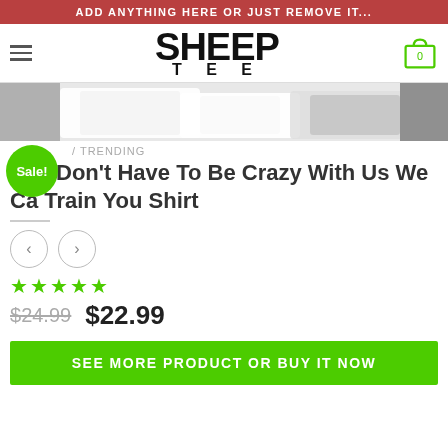ADD ANYTHING HERE OR JUST REMOVE IT...
[Figure (logo): SHEEP TEE logo in bold black text with hamburger menu icon on left and shopping cart icon (0 items) on right]
[Figure (photo): Product image showing folded t-shirts in white and black]
/ TRENDING
You Don't Have To Be Crazy With Us We Ca Train You Shirt
★★★★★
$24.99  $22.99
SEE MORE PRODUCT OR BUY IT NOW